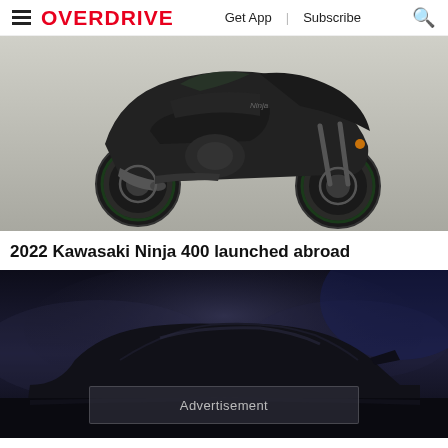OVERDRIVE | Get App | Subscribe
[Figure (photo): 2022 Kawasaki Ninja 400 motorcycle in dark/black color on white background, side profile view]
2022 Kawasaki Ninja 400 launched abroad
[Figure (photo): Silhouette of a sports car against a smoky dark blue background, with an Advertisement overlay box at the bottom]